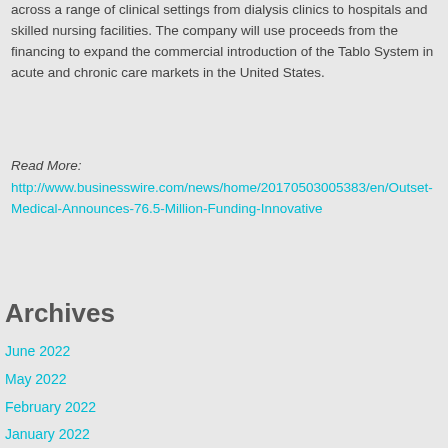more than 15 years. The system can be used flexibly across a range of clinical settings from dialysis clinics to hospitals and skilled nursing facilities. The company will use proceeds from the financing to expand the commercial introduction of the Tablo System in acute and chronic care markets in the United States.
Read More: http://www.businesswire.com/news/home/20170503005383/en/Outset-Medical-Announces-76.5-Million-Funding-Innovative
Tweet
Archives
June 2022
May 2022
February 2022
January 2022
December 2021